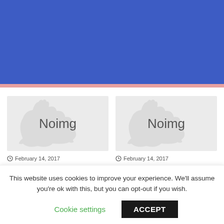[Figure (other): Blue header bar at the top of the page with a pink/salmon stripe below it]
[Figure (illustration): Noimg placeholder image with rabbit silhouette watermark and 'Noimg' text, left card]
February 14, 2017
In Serbia created a graffiti portrait of the
[Figure (illustration): Noimg placeholder image with rabbit silhouette watermark and 'Noimg' text, right card]
February 14, 2017
In California evacuated because of the risk of
This website uses cookies to improve your experience. We'll assume you're ok with this, but you can opt-out if you wish.
Cookie settings
ACCEPT